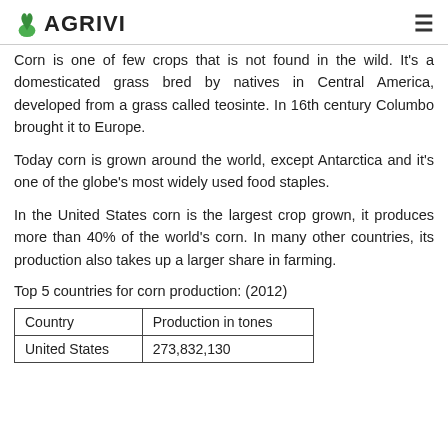AGRIVI
Corn is one of few crops that is not found in the wild. It's a domesticated grass bred by natives in Central America, developed from a grass called teosinte. In 16th century Columbo brought it to Europe.
Today corn is grown around the world, except Antarctica and it's one of the globe's most widely used food staples.
In the United States corn is the largest crop grown, it produces more than 40% of the world's corn. In many other countries, its production also takes up a larger share in farming.
Top 5 countries for corn production: (2012)
| Country | Production in tones |
| --- | --- |
| United States | 273,832,130 |